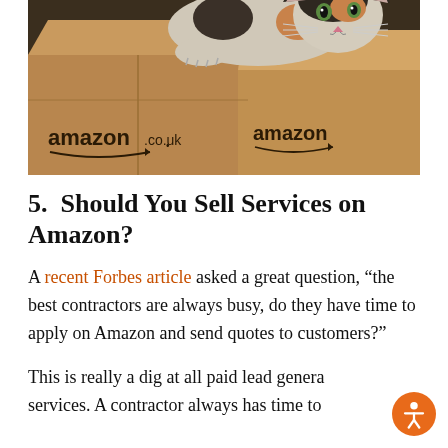[Figure (photo): A calico cat lying on top of Amazon cardboard shipping boxes. Two boxes visible with 'amazon.co.uk' and 'amazon' logos printed on them in dark ink.]
5.  Should You Sell Services on Amazon?
A recent Forbes article asked a great question, “the best contractors are always busy, do they have time to apply on Amazon and send quotes to customers?”
This is really a dig at all paid lead generation services. A contractor always has time to